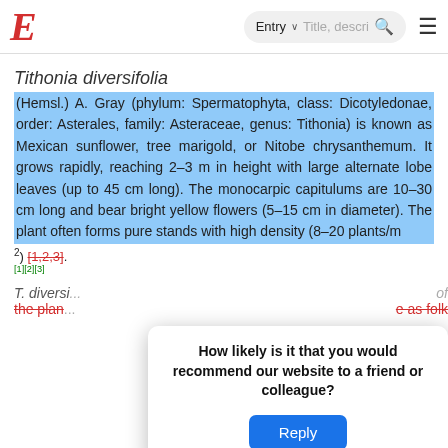E  Entry ∨  Title, descr...  🔍  ≡
Tithonia diversifolia
(Hemsl.) A. Gray (phylum: Spermatophyta, class: Dicotyledonae, order: Asterales, family: Asteraceae, genus: Tithonia) is known as Mexican sunflower, tree marigold, or Nitobe chrysanthemum. It grows rapidly, reaching 2–3 m in height with large alternate lobe leaves (up to 45 cm long). The monocarpic capitulums are 10–30 cm long and bear bright yellow flowers (5–15 cm in diameter). The plant often forms pure stands with high density (8–20 plants/m
2) [1,2,3].
[1][2][3]
T. diversi... of the plan... as folk
How likely is it that you would recommend our website to a friend or colleague?
Reply